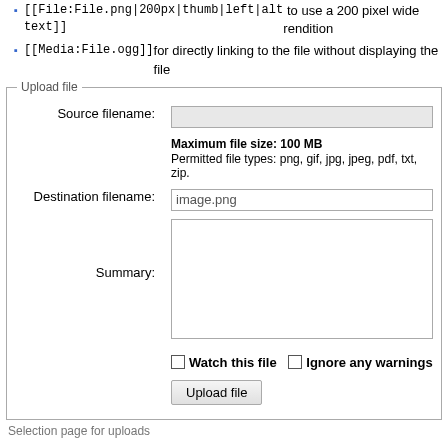[[File:File.png|200px|thumb|left|alt text]] to use a 200 pixel wide rendition
[[Media:File.ogg]] for directly linking to the file without displaying the file
[Figure (screenshot): Upload file form with fields for Source filename, Destination filename, Summary, checkboxes for Watch this file and Ignore any warnings, and an Upload file button]
Selection page for uploads
To produce the figure included above showing the location of the discussion tab the syntax used was
Processing math: 0%
[[File:discussionex.png|frame|location of the discussion tab]]